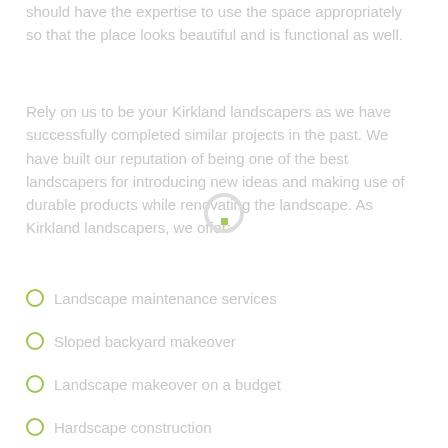should have the expertise to use the space appropriately so that the place looks beautiful and is functional as well.
Rely on us to be your Kirkland landscapers as we have successfully completed similar projects in the past. We have built our reputation of being one of the best landscapers for introducing new ideas and making use of durable products while renovating the landscape. As Kirkland landscapers, we offer:
Landscape maintenance services
Sloped backyard makeover
Landscape makeover on a budget
Hardscape construction